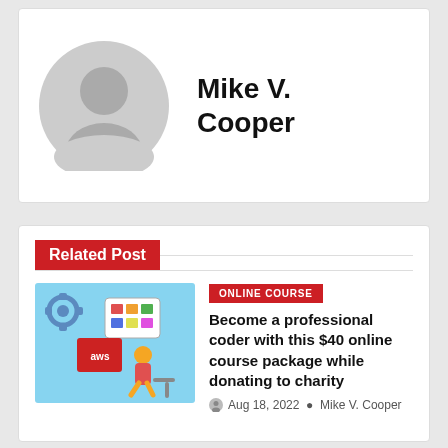[Figure (illustration): Generic user avatar placeholder silhouette in gray circle]
Mike V. Cooper
Related Post
[Figure (illustration): AWS online course promotional illustration with a person sitting on a chair, gears, cloud, and app screens on a light blue background]
ONLINE COURSE
Become a professional coder with this $40 online course package while donating to charity
Aug 18, 2022  Mike V. Cooper